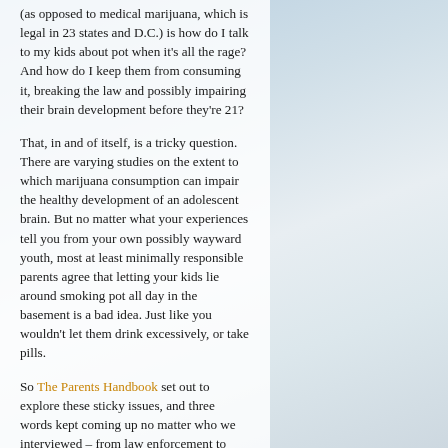(as opposed to medical marijuana, which is legal in 23 states and D.C.) is how do I talk to my kids about pot when it's all the rage? And how do I keep them from consuming it, breaking the law and possibly impairing their brain development before they're 21?
That, in and of itself, is a tricky question. There are varying studies on the extent to which marijuana consumption can impair the healthy development of an adolescent brain. But no matter what your experiences tell you from your own possibly wayward youth, most at least minimally responsible parents agree that letting your kids lie around smoking pot all day in the basement is a bad idea. Just like you wouldn't let them drink excessively, or take pills.
So The Parents Handbook set out to explore these sticky issues, and three words kept coming up no matter who we interviewed – from law enforcement to healthcare professionals to addiction counselors to marijuana retailer. They all urged parents to